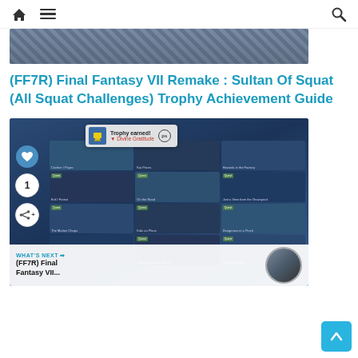Navigation header with home, menu, and search icons
[Figure (screenshot): Partial screenshot of a game guide page, cropped at top]
(FF7R) Final Fantasy VII Remake : Sultan Of Squat (All Squat Challenges) Trophy Achievement Guide
[Figure (screenshot): Screenshot of a PlayStation trophy earned notification showing 'Trophy earned! Divine Gratitude' overlaid on a Final Fantasy VII Remake video library/chapter select screen with multiple video thumbnails arranged in a grid. Social bar on the left with heart icon, count of 1, and share icon.]
WHAT'S NEXT → (FF7R) Final Fantasy VII...